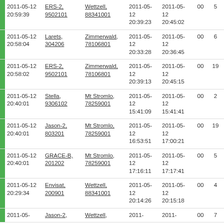|  | Date | Satellite | Station | Start | End | 00 | # | Status |
| --- | --- | --- | --- | --- | --- | --- | --- | --- |
|  | 2011-05-12 20:59:39 | ERS-2, 9502101 | Wettzell, 88341001 | 2011-05-12 20:39:23 | 2011-05-12 20:45:02 | 00 | 5 | Valid |
|  | 2011-05-12 20:58:04 | Larets, 304206 | Zimmerwald, 78106801 | 2011-05-12 20:33:28 | 2011-05-12 20:36:45 | 00 | 6 | Valid |
|  | 2011-05-12 20:58:02 | ERS-2, 9502101 | Zimmerwald, 78106801 | 2011-05-12 20:39:13 | 2011-05-12 20:45:15 | 00 | 19 | Valid |
|  | 2011-05-12 20:40:01 | Stella, 9306102 | Mt Stromlo, 78259001 | 2011-05-12 15:41:09 | 2011-05-12 15:41:41 | 00 | 2 | Valid |
|  | 2011-05-12 20:40:01 | Jason-2, 803201 | Mt Stromlo, 78259001 | 2011-05-12 16:53:51 | 2011-05-12 17:00:21 | 00 | 19 | Valid |
|  | 2011-05-12 20:40:01 | GRACE-B, 201202 | Mt Stromlo, 78259001 | 2011-05-12 17:16:11 | 2011-05-12 17:17:41 | 00 | 5 | Valid |
|  | 2011-05-12 20:29:34 | Envisat, 200901 | Wettzell, 88341001 | 2011-05-12 20:14:26 | 2011-05-12 20:15:18 | 00 | 4 | Valid |
|  | 2011-05-12 ... | Jason-2, ... | Wettzell, ... | 2011-... | 2011-... | 00 | 7 | Valid |